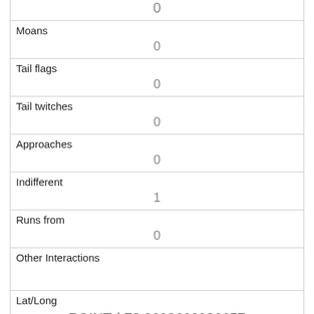| (top row value) | 0 |
| Moans | 0 |
| Tail flags | 0 |
| Tail twitches | 0 |
| Approaches | 0 |
| Indifferent | 1 |
| Runs from | 0 |
| Other Interactions |  |
| Lat/Long | POINT (-73.9698663926657 40.773999710413) |